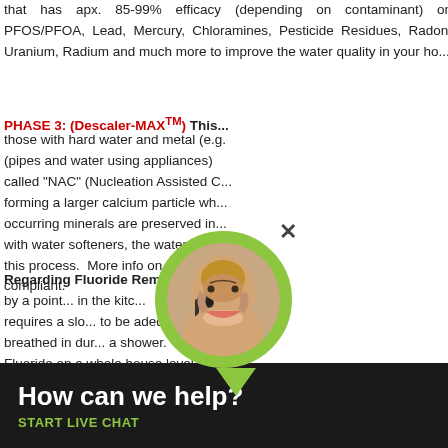that has apx. 85-99% efficacy (depending on contaminant) on PFOS/PFOA, Lead, Mercury, Chloramines, Pesticide Residues, Radon, Uranium, Radium and much more to improve the water quality in your ho...
PHASE 3: (Descaler-MAX™)
This... those with hard water and metal (e.g. (pipes and water using appliances) called "NAC" (Nucleation Assisted C... forming a larger calcium particle wh... occurring minerals are preserved in... with water softeners, the water tast... this process. More info on the De... compliant.
Regarding Fluoride Removal: If y... by a point... in the kitc... requires a slo... to be adequa... breathed in dur... a shower. Furth... Fluoride on a whole house level (fo...
[Figure (photo): Live chat widget with customer service representative avatar (woman with headset), close button, and 'How can we help? START LIVE CHAT' call-to-action on dark background.]